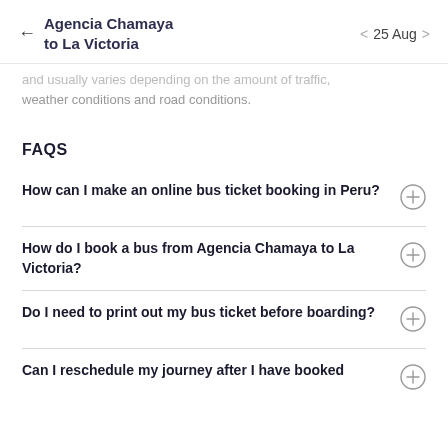← Agencia Chamaya to La Victoria   < 25 Aug >
…and usually varies depending on the amount of traffic, weather conditions and road conditions.
FAQS
How can I make an online bus ticket booking in Peru?
How do I book a bus from Agencia Chamaya to La Victoria?
Do I need to print out my bus ticket before boarding?
Can I reschedule my journey after I have booked